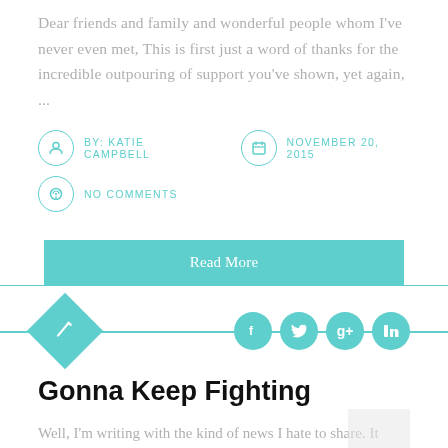Dear friends and family and wonderful people whom I've never even met, This is first just a word of thanks for the incredible outpouring of support you've shown, yet again, ...
BY: KATIE CAMPBELL   NOVEMBER 20, 2015
NO COMMENTS
Read More
[Figure (infographic): Teal decorative divider with diamond/pencil icon on left and social media icons (Facebook, Twitter, Google+, LinkedIn) on right]
Gonna Keep Fighting
Well, I'm writing with the kind of news I hate to share. It looks like this cancer is doing what cancer